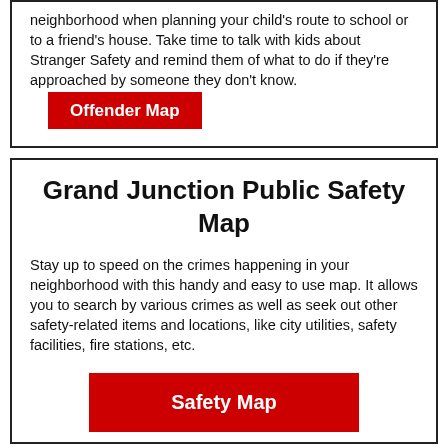neighborhood when planning your child's route to school or to a friend's house. Take time to talk with kids about Stranger Safety and remind them of what to do if they're approached by someone they don't know.
[Figure (other): Red button labeled 'Offender Map']
Grand Junction Public Safety Map
Stay up to speed on the crimes happening in your neighborhood with this handy and easy to use map. It allows you to search by various crimes as well as seek out other safety-related items and locations, like city utilities, safety facilities, fire stations, etc.
[Figure (other): Red button labeled 'Safety Map']